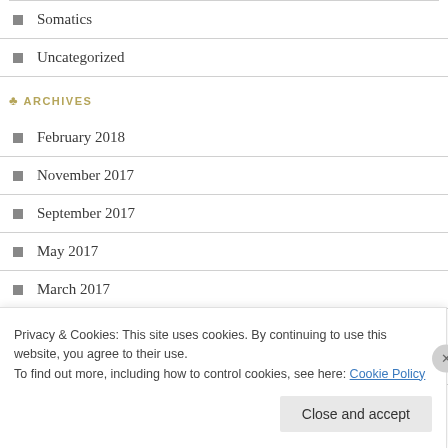Somatics
Uncategorized
ARCHIVES
February 2018
November 2017
September 2017
May 2017
March 2017
January 2017
December 2016
Privacy & Cookies: This site uses cookies. By continuing to use this website, you agree to their use.
To find out more, including how to control cookies, see here: Cookie Policy
Close and accept